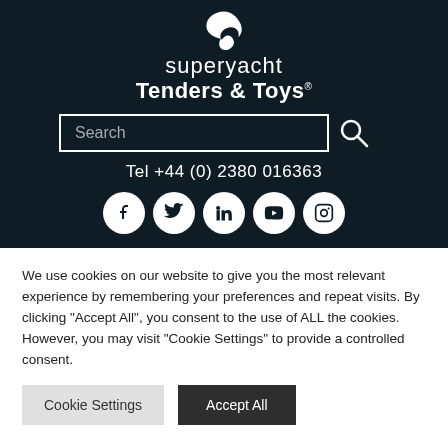[Figure (logo): Superyacht Tenders & Toys logo with wave icon, brand name in white on dark navy background]
Search
Tel +44 (0) 2380 016363
[Figure (infographic): Row of five social media icons: Facebook, Twitter, LinkedIn, YouTube, Instagram — white circles on dark navy background]
We use cookies on our website to give you the most relevant experience by remembering your preferences and repeat visits. By clicking "Accept All", you consent to the use of ALL the cookies. However, you may visit "Cookie Settings" to provide a controlled consent.
Cookie Settings
Accept All